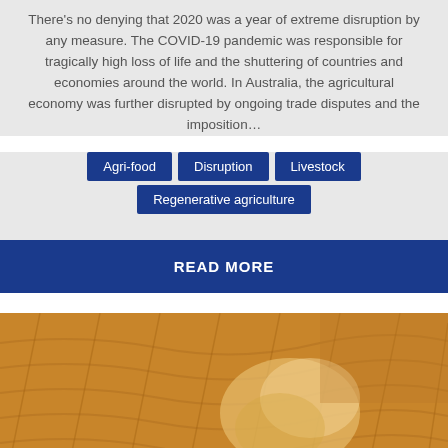There's no denying that 2020 was a year of extreme disruption by any measure. The COVID-19 pandemic was responsible for tragically high loss of life and the shuttering of countries and economies around the world. In Australia, the agricultural economy was further disrupted by ongoing trade disputes and the imposition...
Agri-food
Disruption
Livestock
Regenerative agriculture
READ MORE
[Figure (photo): Aerial view of a combine harvester working in a golden wheat field, raising a dust cloud as it cuts through the crop rows.]